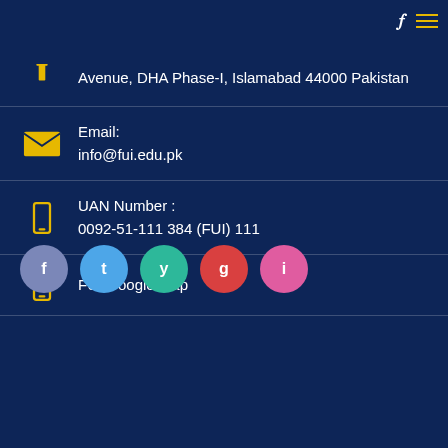Avenue, DHA Phase-I, Islamabad 44000 Pakistan
Email:
info@fui.edu.pk
UAN Number :
0092-51-111 384 (FUI) 111
FUI Google Map
[Figure (infographic): Five social media icon circles: purple/blue (Facebook), light blue (Twitter), teal/green (YouTube), red (Google+), pink (Instagram)]